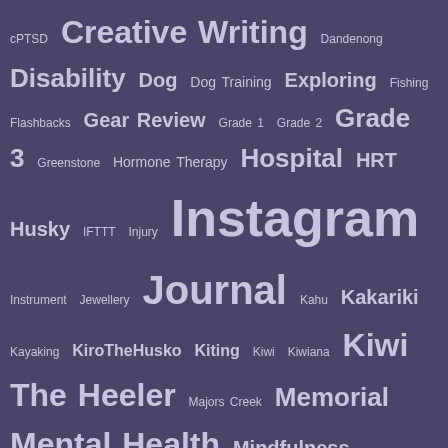[Figure (infographic): Tag cloud on dark purple background showing blog/website tags in varying font sizes indicating frequency. Tags include: cPTSD, Creative Writing, Dandenong, Disability, Dog, Dog Training, Exploring, Fishing, Flashbacks, Gear Review, Grade 1, Grade 2, Grade 3, Greenstone, Hormone Therapy, Hospital, HRT, Husky, IFTTT, Injury, Instagram, Instrument, Jewellery, Journal, Kahu, Kakariki, Kayaking, KiroTheHusko, Kiting, Kiwi, Kiwiana, Kiwi The Heeler, Majors Creek, Memorial, Mental Health, Mindfulness, minecraft, mojang, National Park, National Parks, NDIS, New Zealand, Nonverbal, Norse, Odin, off-road, OldLife, Outdoor Sports, Photos, Planets, Poetry, Pounamu, Prayer, Project 1845, Projects, PTSD, Puppy, Puppy Play, Red Heeler, Red Heeler Puppy, Singing Bowl, Stairs, St Kilda, Telescopes, Thor, Tires, Trails, Trails & Paths, Transgender, Transgender Experiences, Transitioning, VICPAH, Victoria, Walking Stick, Waterfall, Wheelchair, Wheelchair Accessories, Wheelchairs, Wheeliemom, Writing]